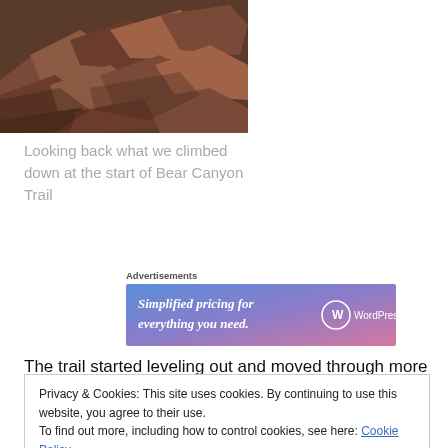[Figure (photo): Close-up photo of reddish-brown rocks and boulders on a trail]
Looking back what we climbed down at the start of Bear Canyon Trail
Advertisements
[Figure (screenshot): WordPress.com advertisement banner: Simplified pricing for everything you need.]
The trail started leveling out and moved through more of
Privacy & Cookies: This site uses cookies. By continuing to use this website, you agree to their use.
To find out more, including how to control cookies, see here: Cookie Policy
Close and accept